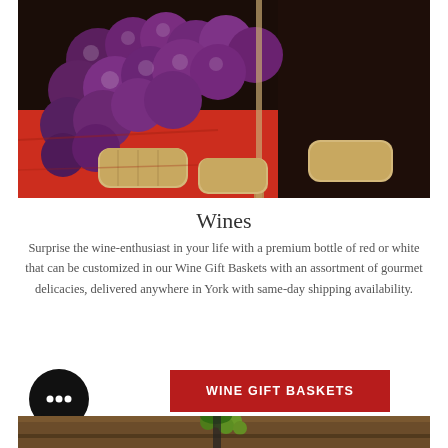[Figure (photo): Photo of purple/red grapes scattered on a red cloth surface with wine corks and a wine glass stem visible in the background on a dark wooden surface.]
Wines
Surprise the wine-enthusiast in your life with a premium bottle of red or white that can be customized in our Wine Gift Baskets with an assortment of gourmet delicacies, delivered anywhere in York with same-day shipping availability.
[Figure (other): Dark circular chat bubble icon with three dots inside]
WINE GIFT BASKETS
[Figure (photo): Bottom portion of photo showing green grapes on a wine barrel with a bottle opener/corkscrew visible.]